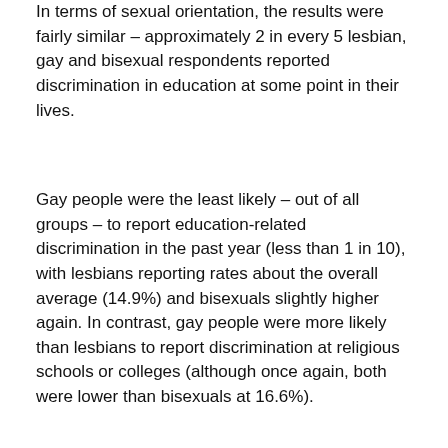In terms of sexual orientation, the results were fairly similar – approximately 2 in every 5 lesbian, gay and bisexual respondents reported discrimination in education at some point in their lives.
Gay people were the least likely – out of all groups – to report education-related discrimination in the past year (less than 1 in 10), with lesbians reporting rates about the overall average (14.9%) and bisexuals slightly higher again. In contrast, gay people were more likely than lesbians to report discrimination at religious schools or colleges (although once again, both were lower than bisexuals at 16.6%).